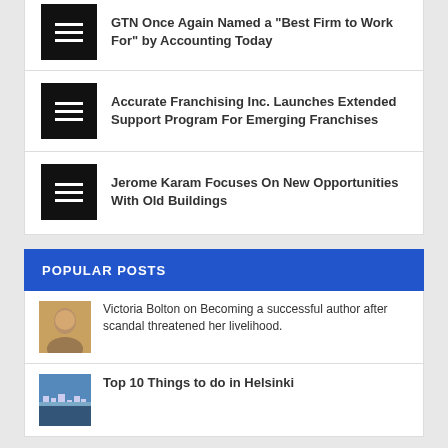GTN Once Again Named a “Best Firm to Work For” by Accounting Today
Accurate Franchising Inc. Launches Extended Support Program For Emerging Franchises
Jerome Karam Focuses On New Opportunities With Old Buildings
POPULAR POSTS
Victoria Bolton on Becoming a successful author after scandal threatened her livelihood.
Top 10 Things to do in Helsinki